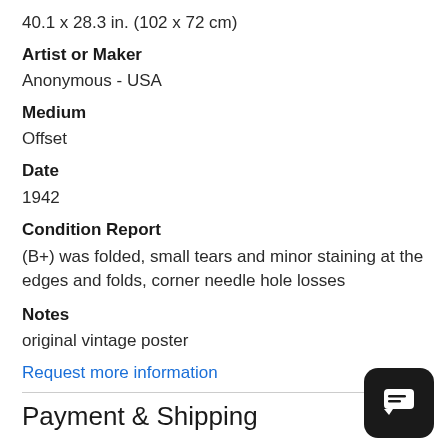40.1 x 28.3 in. (102 x 72 cm)
Artist or Maker
Anonymous - USA
Medium
Offset
Date
1942
Condition Report
(B+) was folded, small tears and minor staining at the edges and folds, corner needle hole losses
Notes
original vintage poster
Request more information
Payment & Shipping